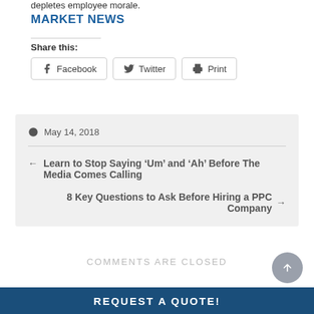depletes employee morale.
MARKET NEWS
Share this:
Facebook  Twitter  Print
May 14, 2018
← Learn to Stop Saying 'Um' and 'Ah' Before The Media Comes Calling
8 Key Questions to Ask Before Hiring a PPC Company →
COMMENTS ARE CLOSED
REQUEST A QUOTE!